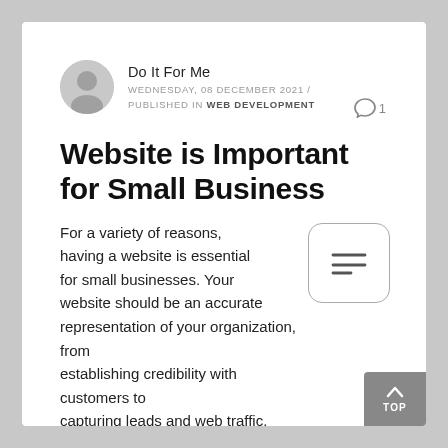Do It For Me
WEDNESDAY, 08 DECEMBER 2021 / PUBLISHED IN WEB DEVELOPMENT
Website is Important for Small Business
For a variety of reasons, having a website is essential for small businesses. Your website should be an accurate representation of your organization, from establishing credibility with customers to capturing leads and web traffic. Even more importantly, it must be a profitable cash-